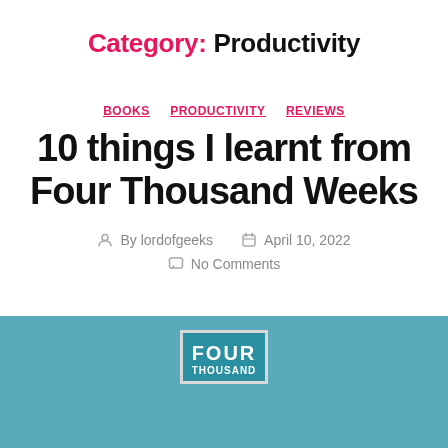Category: Productivity
BOOKS   PRODUCTIVITY   REVIEWS
10 things I learnt from Four Thousand Weeks
By lordofgeeks   April 10, 2022   No Comments
[Figure (photo): Book cover of 'Four Thousand Weeks' displayed on a teal/blue background]